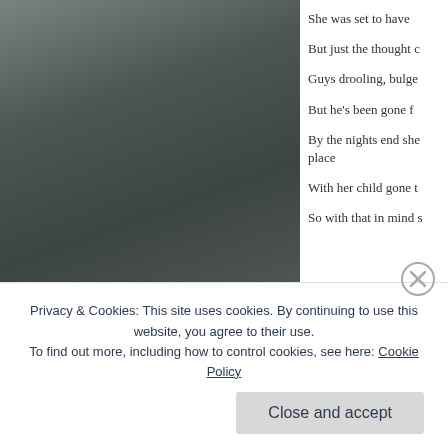[Figure (photo): Dark grey silhouette photo panel on left side of page]
She was set to have
But just the thought c
Guys drooling, bulge
But he's been gone f
By the nights end she place
With her child gone t
So with that in mind s
Privacy & Cookies: This site uses cookies. By continuing to use this website, you agree to their use.
To find out more, including how to control cookies, see here: Cookie Policy
Close and accept